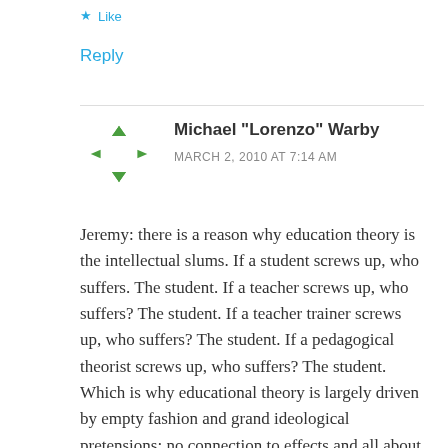★ Like
Reply
Michael "Lorenzo" Warby
MARCH 2, 2010 AT 7:14 AM
Jeremy: there is a reason why education theory is the intellectual slums. If a student screws up, who suffers. The student. If a teacher screws up, who suffers? The student. If a teacher trainer screws up, who suffers? The student. If a pedagogical theorist screws up, who suffers? The student. Which is why educational theory is largely driven by empty fashion and grand ideological pretensions: no connection to effects and all about status games.